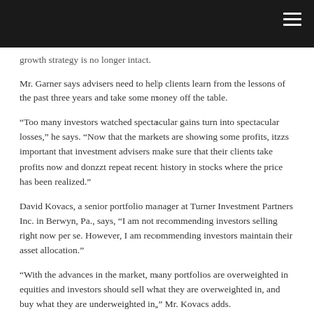growth strategy is no longer intact.
Mr. Garner says advisers need to help clients learn from the lessons of the past three years and take some money off the table.
“Too many investors watched spectacular gains turn into spectacular losses,” he says. “Now that the markets are showing some profits, itzzs important that investment advisers make sure that their clients take profits now and donzzt repeat recent history in stocks where the price has been realized.”
David Kovacs, a senior portfolio manager at Turner Investment Partners Inc. in Berwyn, Pa., says, “I am not recommending investors selling right now per se. However, I am recommending investors maintain their asset allocation.”
“With the advances in the market, many portfolios are overweighted in equities and investors should sell what they are overweighted in, and buy what they are underweighted in,” Mr. Kovacs adds.